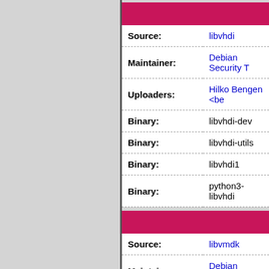| Field | Value |
| --- | --- |
| Source: | libvhdi |
| Maintainer: | Debian Security T... |
| Uploaders: | Hilko Bengen <be... |
| Binary: | libvhdi-dev |
| Binary: | libvhdi-utils |
| Binary: | libvhdi1 |
| Binary: | python3-libvhdi |
| Field | Value |
| --- | --- |
| Source: | libvmdk |
| Maintainer: | Debian Security T... |
| Uploaders: | Hilko Bengen <be... |
| Binary: | libvmdk-dev |